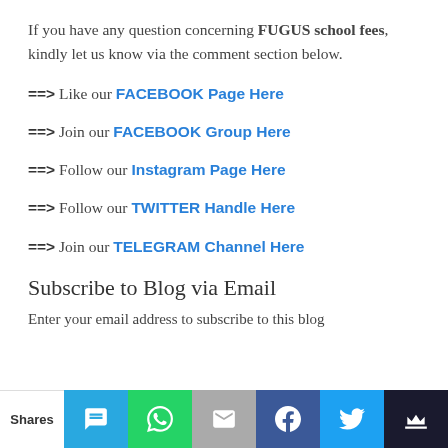If you have any question concerning FUGUS school fees, kindly let us know via the comment section below.
==> Like our FACEBOOK Page Here
==> Join our FACEBOOK Group Here
==> Follow our Instagram Page Here
==> Follow our TWITTER Handle Here
==> Join our TELEGRAM Channel Here
Subscribe to Blog via Email
Enter your email address to subscribe to this blog